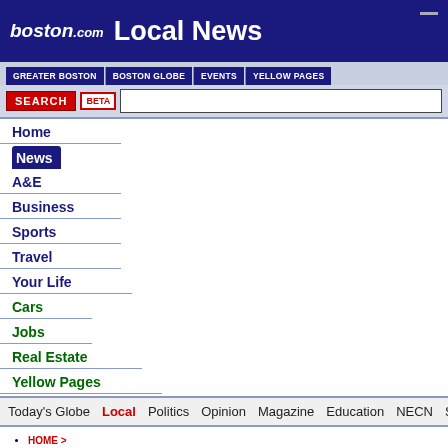boston.com Local News
GREATER BOSTON | BOSTON GLOBE | EVENTS | YELLOW PAGES
SEARCH BETA [search input]
Home
News
A&E
Business
Sports
Travel
Your Life
Cars
Jobs
Real Estate
Yellow Pages
Today's Globe  Local  Politics  Opinion  Magazine  Education  NECN  Spe
HOME >
NEWS >
LOCAL